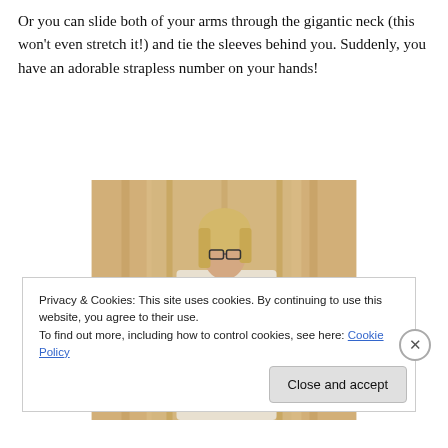Or you can slide both of your arms through the gigantic neck (this won't even stretch it!) and tie the sleeves behind you. Suddenly, you have an adorable strapless number on your hands!
[Figure (photo): A young woman wearing glasses and a white strapless top/dress, standing in front of decorative curtains, with one hand on her hip.]
Privacy & Cookies: This site uses cookies. By continuing to use this website, you agree to their use.
To find out more, including how to control cookies, see here: Cookie Policy